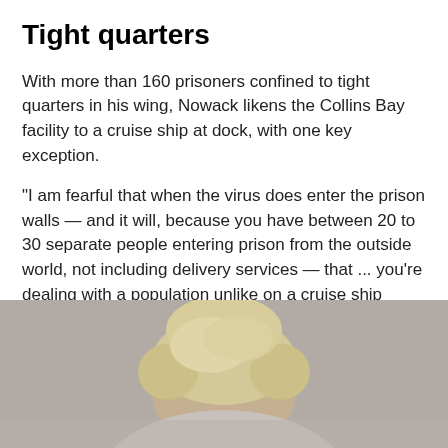Tight quarters
With more than 160 prisoners confined to tight quarters in his wing, Nowack likens the Collins Bay facility to a cruise ship at dock, with one key exception.
"I am fearful that when the virus does enter the prison walls — and it will, because you have between 20 to 30 separate people entering prison from the outside world, not including delivery services — that ... you're dealing with a population unlike on a cruise ship which is here under duress," Nowack said.
[Figure (photo): Partial photo of a person with blonde/light hair against a grey background, cropped at the bottom of the page]